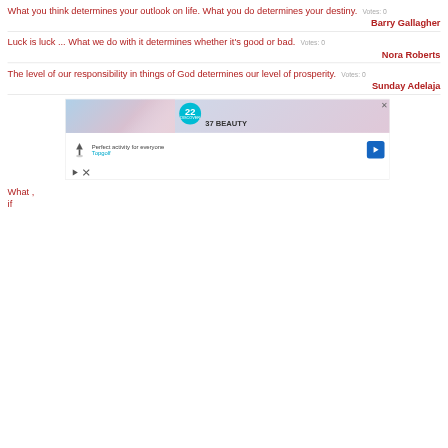What you think determines your outlook on life. What you do determines your destiny. Votes: 0
Barry Gallagher
Luck is luck ... What we do with it determines whether it's good or bad. Votes: 0
Nora Roberts
The level of our responsibility in things of God determines our level of prosperity. Votes: 0
Sunday Adelaja
[Figure (screenshot): Advertisement banner: top portion shows a woman with hair in wind against sky background with a '22' badge and '37 BEAUTY' text. Bottom portion shows Topgolf logo with 'Perfect activity for everyone' text and a blue navigation arrow.]
What ...